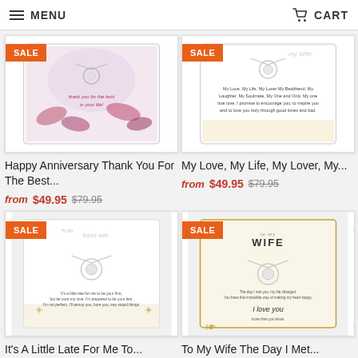MENU | CART
[Figure (photo): Gift necklace product image - Happy Anniversary Thank You For The Best with SALE badge, pink floral card]
Happy Anniversary Thank You For The Best...
from $49.95 $79.95
[Figure (photo): Gift necklace product image - My Love My Life My Lover with SALE badge, romantic card]
My Love, My Life, My Lover, My...
from $49.95 $79.95
[Figure (photo): Gift necklace product image - It's A Little Late For Me To with SALE badge, future wife card]
It's A Little Late For Me To...
[Figure (photo): Gift necklace product image - To My Wife The Day I Met with SALE badge, wife card gold border]
To My Wife The Day I Met...